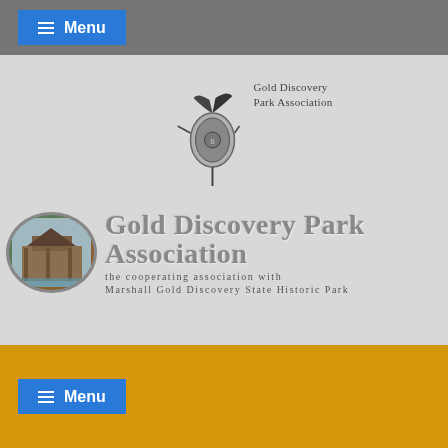Menu
[Figure (logo): Gold Discovery Park Association small logo with circular gold pan icon and text]
[Figure (logo): Gold Discovery Park Association large banner logo with oval photo of historic building, decorative serif title text, and subtitle: the cooperating association with Marshall Gold Discovery State Historic Park]
Menu